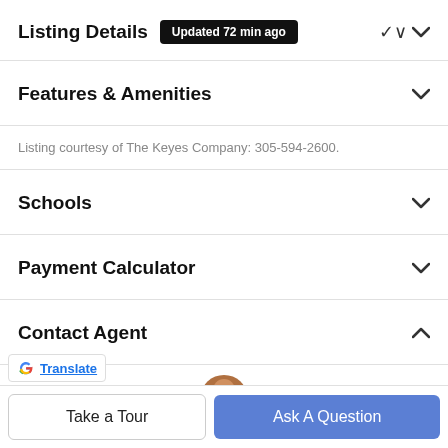Listing Details  Updated 72 min ago
Features & Amenities
Listing courtesy of The Keyes Company: 305-594-2600.
Schools
Payment Calculator
Contact Agent
[Figure (photo): Partial view of agent profile photo (circular headshot, partially visible)]
Felix Santu... PA
Take a Tour
Ask A Question
Translate